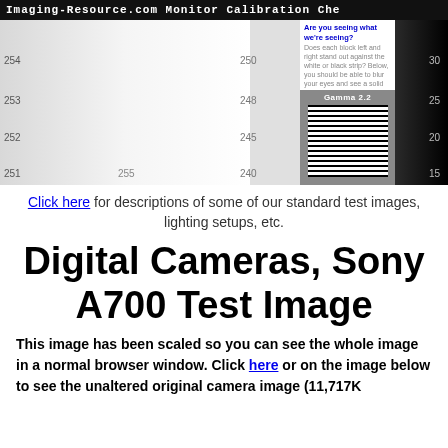Imaging-Resource.com Monitor Calibration Che
[Figure (other): Monitor calibration chart showing light-to-dark gradient strips with numbered scale values (251-255, 240-250) and a gamma 2.2 striped test pattern. Overlay text reads: Are you seeing what we're seeing? Does each block left and right stand out against the white or black strip? Below, you should be able to blur your eyes and see a solid grey. Click for more on screen calibration.]
Click here for descriptions of some of our standard test images, lighting setups, etc.
Digital Cameras, Sony A700 Test Image
This image has been scaled so you can see the whole image in a normal browser window. Click here or on the image below to see the unaltered original camera image (11,717K